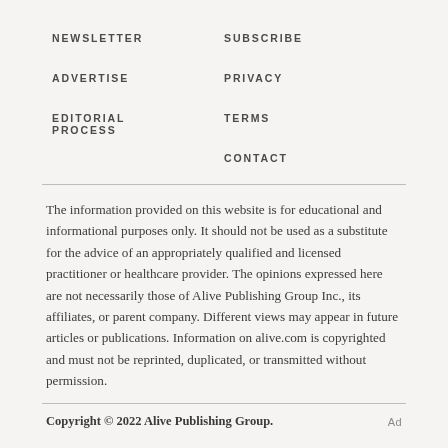NEWSLETTER
SUBSCRIBE
ADVERTISE
PRIVACY
EDITORIAL PROCESS
TERMS
CONTACT
The information provided on this website is for educational and informational purposes only. It should not be used as a substitute for the advice of an appropriately qualified and licensed practitioner or healthcare provider. The opinions expressed here are not necessarily those of Alive Publishing Group Inc., its affiliates, or parent company. Different views may appear in future articles or publications. Information on alive.com is copyrighted and must not be reprinted, duplicated, or transmitted without permission.
Copyright © 2022 Alive Publishing Group.  Ad